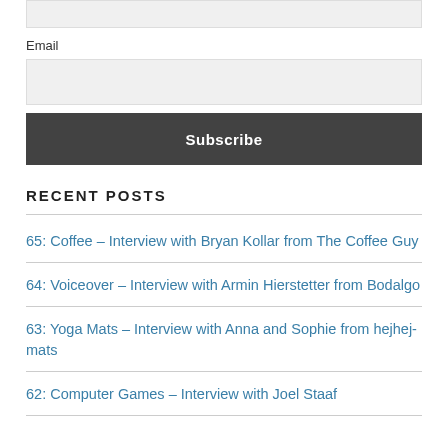Email
Subscribe
RECENT POSTS
65: Coffee – Interview with Bryan Kollar from The Coffee Guy
64: Voiceover – Interview with Armin Hierstetter from Bodalgo
63: Yoga Mats – Interview with Anna and Sophie from hejhej-mats
62: Computer Games – Interview with Joel Staaf